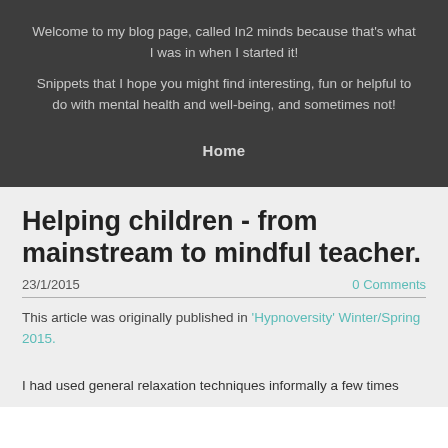Welcome to my blog page, called In2 minds because that's what I was in when I started it! Snippets that I hope you might find interesting, fun or helpful to do with mental health and well-being, and sometimes not!
Home
Helping children - from mainstream to mindful teacher.
23/1/2015
0 Comments
This article was originally published in 'Hypnoversity' Winter/Spring 2015.
I had used general relaxation techniques informally a few times